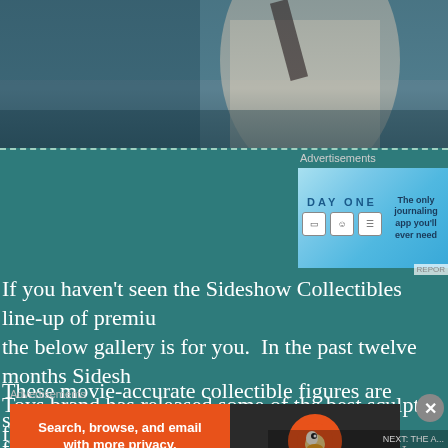[Figure (photo): Close-up photo of a Star Wars collectible figure in white/cream robes, blurred background of blue-grey tones]
Advertisements
[Figure (screenshot): Day One journaling app advertisement banner: 'The only journaling app you'll ever need']
If you haven't seen the Sideshow Collectibles line-up of premium figures, the below gallery is for you. In the past twelve months Sideshow Toys brand has released some of the best sculpted figures we've seen for Star Wars franchise, beginning with a superb line of Star Wars: The Force Awakens figures. In the past month we've seen even more great figures previewed from Rogue One: A Star Wars Story.
These movie-accurate collectible figures are specially crafted featuring new body designs and armor, highly polished hel...
Advertisements
[Figure (screenshot): DuckDuckGo advertisement: 'Search, browse, and email with more privacy. All in One Free App']